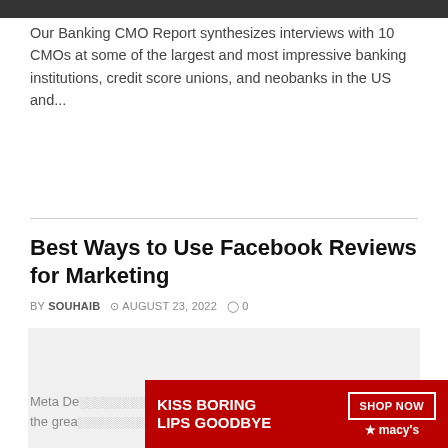[Figure (photo): Dark/black top bar image strip]
Our Banking CMO Report synthesizes interviews with 10 CMOs at some of the largest and most impressive banking institutions, credit score unions, and neobanks in the US and...
Best Ways to Use Facebook Reviews for Marketing
BY SOUHAIB  © AUGUST 23, 2022  ◯ 0
[Figure (photo): Large light gray article image placeholder]
CLOSE
Meta De... one of the grea... k out
[Figure (photo): Macy's advertisement banner: KISS BORING LIPS GOODBYE with woman photo and SHOP NOW button and Macy's star logo]